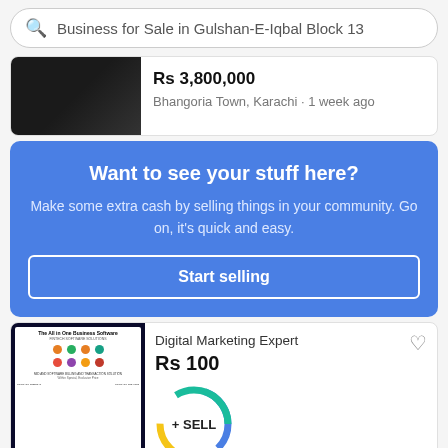Business for Sale in Gulshan-E-Iqbal Block 13
Rs 3,800,000
Bhangoria Town, Karachi • 1 week ago
Want to see your stuff here?
Make some extra cash by selling things in your community. Go on, it's quick and easy.
Start selling
Digital Marketing Expert
Rs 100
+ SELL
own, Karachi • 2 weeks ago